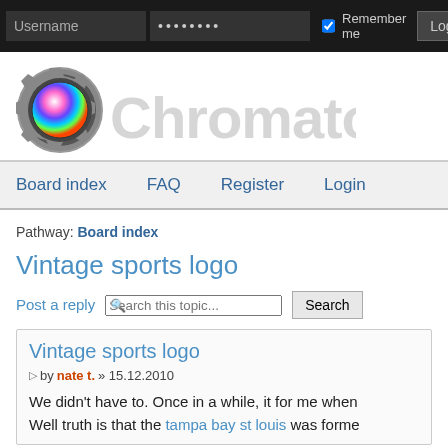Username [password field] Remember me Login
[Figure (logo): Chromatophore logo: gear icon with colorful circle center and large grey Chromatophore text]
Board index   FAQ   Register   Login
Pathway: Board index
Vintage sports logo
Post a reply   Search this topic...   Search
Vintage sports logo
by nate t. » 15.12.2010
We didn't have to. Once in a while, it for me when Well truth is that the tampa bay st louis was forme